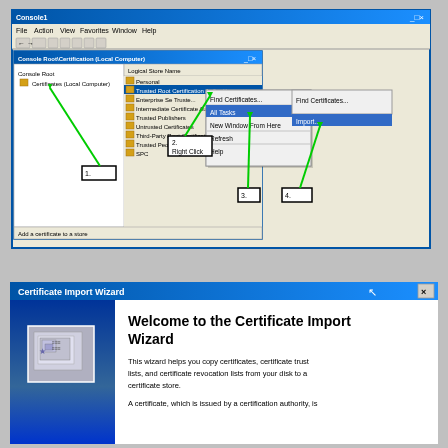[Figure (screenshot): Windows MMC Console screenshot showing Certificate Manager with context menu open. Labels 1-4 point to: 1. Certificates (Local Computer) tree node, 2. Right Click on Trusted Root Certification Authorities, 3. All Tasks menu item, 4. Import menu item.]
[Figure (screenshot): Certificate Import Wizard dialog showing welcome screen with title 'Welcome to the Certificate Import Wizard' and explanatory text about copying certificates.]